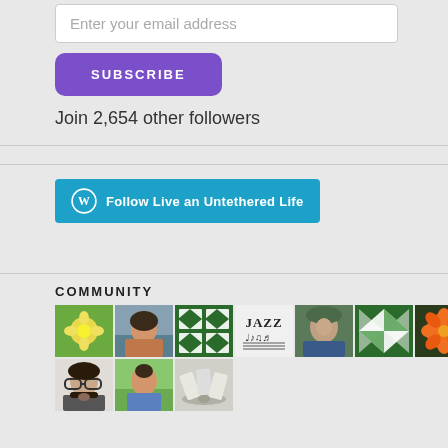Enter your email address
SUBSCRIBE
Join 2,654 other followers
[Figure (other): WordPress Follow button: Follow Live an Untethered Life]
COMMUNITY
[Figure (photo): Grid of community member avatars and icons: flower, person, green pattern, jazz music notes, person with hat, quilt pattern, orange flower, man with glasses, man outdoors, fan/cards]